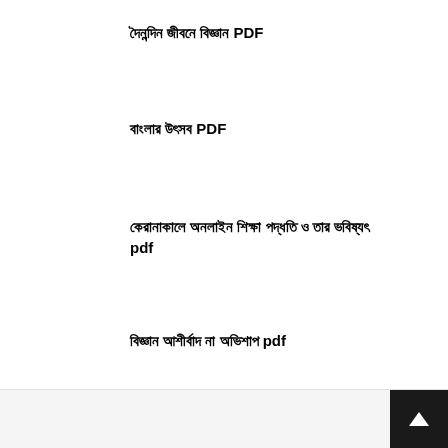দৈনন্দিন জীবনে বিজ্ঞান PDF
বাংলার উৎসব PDF
কেরানাকালে অনলাইন শিক্ষা পদ্ধতি ও তার ভবিষ্যৎ pdf
বিজ্ঞান আশীর্বাদ না অভিশাপ pdf